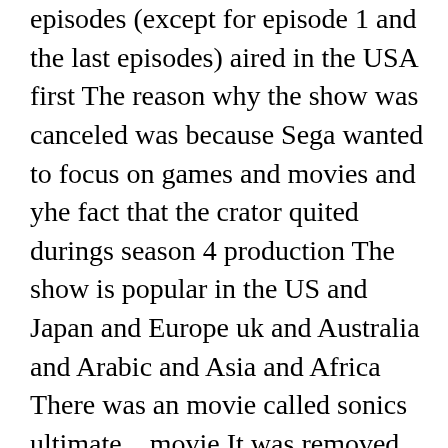episodes (except for episode 1 and the last episodes) aired in the USA first The reason why the show was canceled was because Sega wanted to focus on games and movies and yhe fact that the crator quited durings season 4 production The show is popular in the US and Japan and Europe uk and Australia and Arabic and Asia and Africa There was an movie called sonics  ultimate   movie It was removed from US televison on November 2036 but came back in January 2037 In other countries Albanian old dub zërit iriq dub relase date (2026) channel (çufo) run 2026 seasons (unknown) Albanian renewed dub i zërit relase date (2030 or 2032-2033) channel (çufo) run 2030 or 2032-2033 seasons (2 or 3) Albanian (nickelodeon dub) zanor